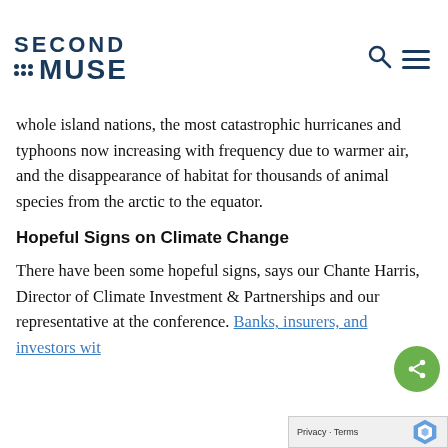SECOND MUSE
whole island nations, the most catastrophic hurricanes and typhoons now increasing with frequency due to warmer air, and the disappearance of habitat for thousands of animal species from the arctic to the equator.
Hopeful Signs on Climate Change
There have been some hopeful signs, says our Chante Harris, Director of Climate Investment & Partnerships and our representative at the conference. Banks, insurers, and investors wit